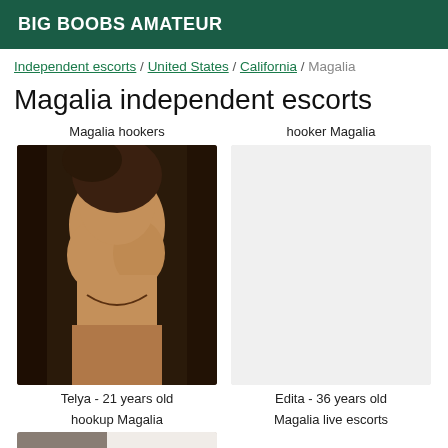BIG BOOBS AMATEUR
Independent escorts / United States / California / Magalia
Magalia independent escorts
Magalia hookers
[Figure (photo): Photo of a young woman, partially unclothed, upper body visible with dark hair.]
Telya - 21 years old
hooker Magalia
Edita - 36 years old
hookup Magalia
Magalia live escorts
[Figure (photo): Partial photo of a person, cropped at bottom of page.]